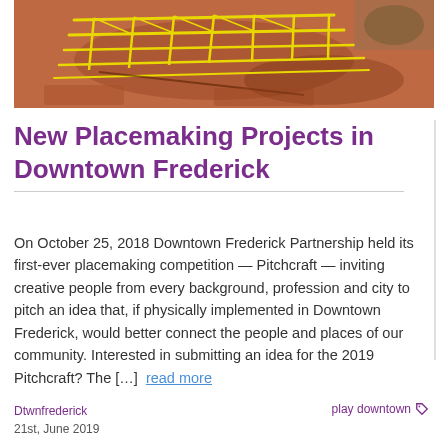[Figure (photo): Aerial view of a playground/park area with yellow climbing structures on a terracotta/brown ground surface, viewed from above.]
New Placemaking Projects in Downtown Frederick
On October 25, 2018 Downtown Frederick Partnership held its first-ever placemaking competition — Pitchcraft — inviting creative people from every background, profession and city to pitch an idea that, if physically implemented in Downtown Frederick, would better connect the people and places of our community. Interested in submitting an idea for the 2019 Pitchcraft? The […] read more
Dtwnfrederick
21st, June 2019
play downtown